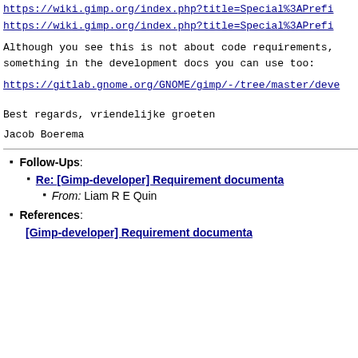https://wiki.gimp.org/index.php?title=Special%3APrefi
https://wiki.gimp.org/index.php?title=Special%3APrefi
Although you see this is not about code requirements, something in the development docs you can use too:
https://gitlab.gnome.org/GNOME/gimp/-/tree/master/deve
Best regards, vriendelijke groeten
Jacob Boerema
Follow-Ups:
Re: [Gimp-developer] Requirement documenta
From: Liam R E Quin
References:
[Gimp-developer] Requirement documenta